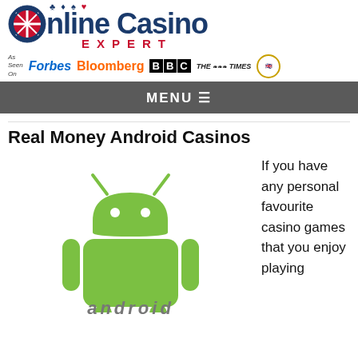[Figure (logo): Online Casino Expert logo with circular emblem and card suits]
[Figure (logo): As Seen On: Forbes, Bloomberg, BBC, The Times, and a badge/seal]
[Figure (screenshot): Navigation bar with MENU hamburger icon]
Real Money Android Casinos
[Figure (illustration): Android robot mascot in green with ANDROID text below]
If you have any personal favourite casino games that you enjoy playing